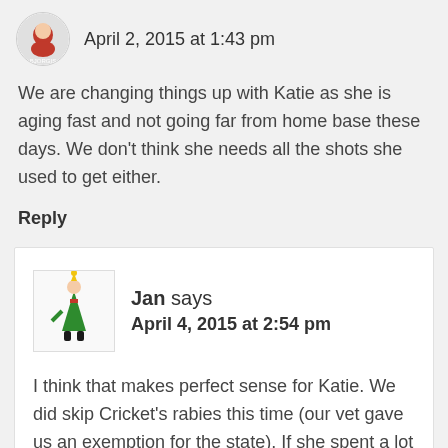April 2, 2015 at 1:43 pm
We are changing things up with Katie as she is aging fast and not going far from home base these days. We don't think she needs all the shots she used to get either.
Reply
Jan says
April 4, 2015 at 2:54 pm
I think that makes perfect sense for Katie. We did skip Cricket's rabies this time (our vet gave us an exemption for the state). If she spent a lot of time in the woods where